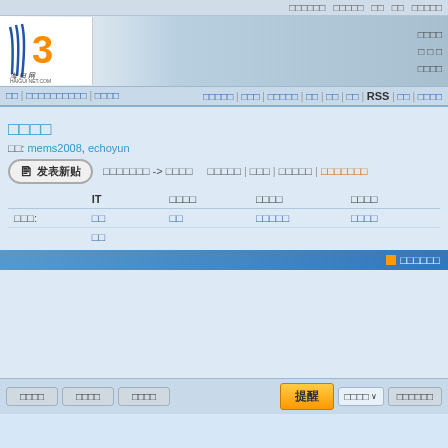□□□□□□ □□□□□ □□ □□ □□□□□
[Figure (logo): Haiguinet.com logo with orange 3 and stylized stripes, text 海归网 HAIGUI NET.COM]
□□□□
□ □ □
□□□□
□□ | □□□□□□□□□□ | □□□□   □□□□□ | □□□ | □□□□□ | □□ | □□ | □□ | RSS | □□ | □□□□
□□□□
□□: mems2008, echoyun
发表新贴
□□□□□□□ -> □□□□    □□□□□ | □□□ | □□□□□ | □□□□□□□
|  | IT | □□□□ | □□□□ | □□□□ |
| --- | --- | --- | --- | --- |
| □□□: | □□ | □□ | □□□□□ | □□□□ |
|  | □□ |  |  |  |
□□□□□□
□□□□   □□□□   □□□□        提醒    □□□□ ∨    □□□□□□